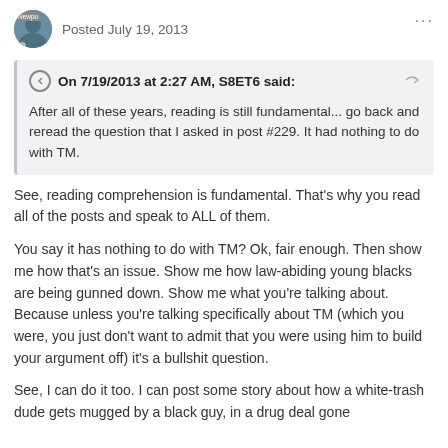Posted July 19, 2013
On 7/19/2013 at 2:27 AM, S8ET6 said:
After all of these years, reading is still fundamental... go back and reread the question that I asked in post #229. It had nothing to do with TM.
See, reading comprehension is fundamental. That's why you read all of the posts and speak to ALL of them.
You say it has nothing to do with TM? Ok, fair enough. Then show me how that's an issue. Show me how law-abiding young blacks are being gunned down. Show me what you're talking about. Because unless you're talking specifically about TM (which you were, you just don't want to admit that you were using him to build your argument off) it's a bullshit question.
See, I can do it too. I can post some story about how a white-trash dude gets mugged by a black guy, in a drug deal gone